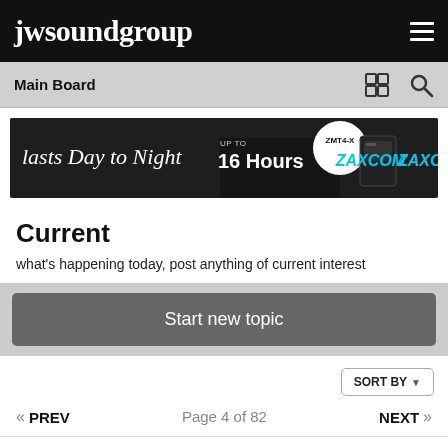jwsoundgroup
Main Board
[Figure (photo): Zaxcom ZMT4-X advertisement banner: 'Lasts Day to Night up to 16 Hours' with silhouetted concert crowd and Zaxcom branding in cyan]
Current
what's happening today, post anything of current interest
Start new topic
SORT BY
« PREV   Page 4 of 82   NEXT »